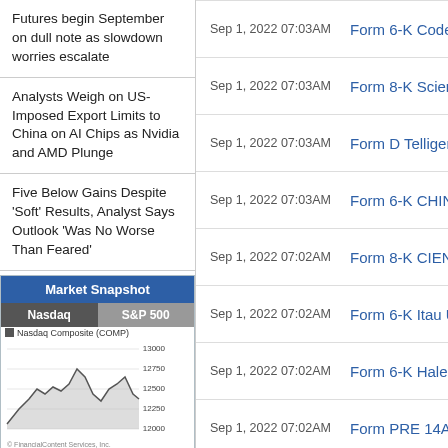Futures begin September on dull note as slowdown worries escalate
Analysts Weigh on US-Imposed Export Limits to China on AI Chips as Nvidia and AMD Plunge
Five Below Gains Despite 'Soft' Results, Analyst Says Outlook 'Was No Worse Than Feared'
Market Snapshot
[Figure (line-chart): Line chart of Nasdaq Composite showing values approximately between 12000 and 13000]
Sep 1, 2022 07:03AM   Form 6-K Codere
Sep 1, 2022 07:03AM   Form 8-K Science
Sep 1, 2022 07:03AM   Form D Telligent
Sep 1, 2022 07:03AM   Form 6-K CHINA
Sep 1, 2022 07:02AM   Form 8-K CIENA
Sep 1, 2022 07:02AM   Form 6-K Itau Un
Sep 1, 2022 07:02AM   Form 6-K Haleon
Sep 1, 2022 07:02AM   Form PRE 14A R